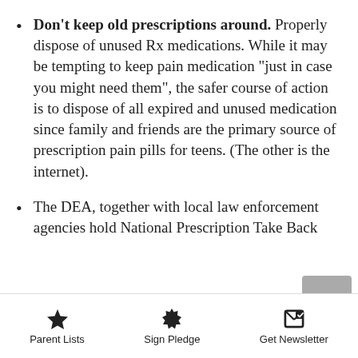Don't keep old prescriptions around. Properly dispose of unused Rx medications. While it may be tempting to keep pain medication "just in case you might need them", the safer course of action is to dispose of all expired and unused medication since family and friends are the primary source of prescription pain pills for teens. (The other is the internet).
The DEA, together with local law enforcement agencies hold National Prescription Take Back...
Parent Lists   Sign Pledge   Get Newsletter